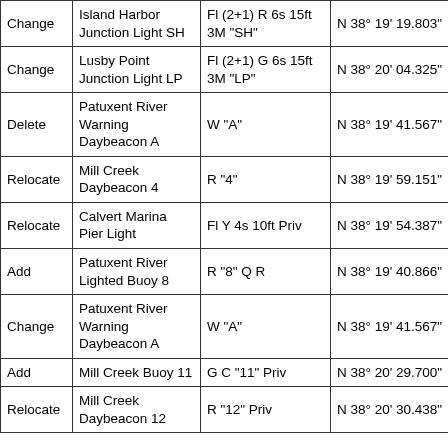| Action | Name | Characteristic | Latitude | Longitude (partial) |
| --- | --- | --- | --- | --- |
| Change | Island Harbor Junction Light SH | Fl (2+1) R 6s 15ft 3M "SH" | N 38° 19' 19.803" | W 07 |
| Change | Lusby Point Junction Light LP | Fl (2+1) G 6s 15ft 3M "LP" | N 38° 20' 04.325" | W 07 |
| Delete | Patuxent River Warning Daybeacon A | W "A" | N 38° 19' 41.567" | W 07 |
| Relocate | Mill Creek Daybeacon 4 | R "4" | N 38° 19' 59.151" | W 07 |
| Relocate | Calvert Marina Pier Light | Fl Y 4s 10ft Priv | N 38° 19' 54.387" | W 07 |
| Add | Patuxent River Lighted Buoy 8 | R "8" Q R | N 38° 19' 40.866" | W 07 |
| Change | Patuxent River Warning Daybeacon A | W "A" | N 38° 19' 41.567" | W 07 |
| Add | Mill Creek Buoy 11 | G C "11" Priv | N 38° 20' 29.700" | W 07 |
| Relocate | Mill Creek Daybeacon 12 | R "12" Priv | N 38° 20' 30.438" | W 07 |